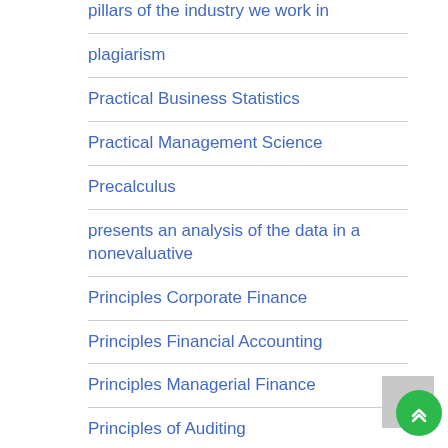pillars of the industry we work in
plagiarism
Practical Business Statistics
Practical Management Science
Precalculus
presents an analysis of the data in a nonevaluative
Principles Corporate Finance
Principles Financial Accounting
Principles Managerial Finance
Principles of Auditing
Principles Taxation Business
Programming Language Pragmatics